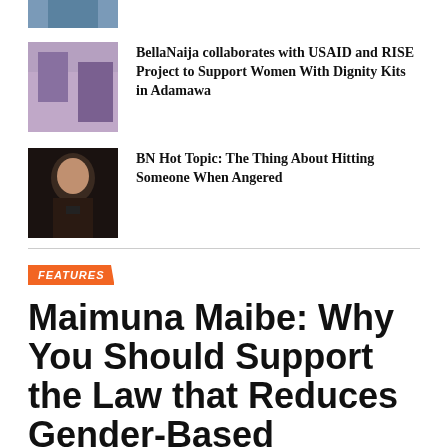[Figure (photo): Partial image at top, cropped]
[Figure (photo): People with dignity kits in Adamawa]
BellaNaija collaborates with USAID and RISE Project to Support Women With Dignity Kits in Adamawa
[Figure (photo): Man at microphone on dark background]
BN Hot Topic: The Thing About Hitting Someone When Angered
FEATURES
Maimuna Maibe: Why You Should Support the Law that Reduces Gender-Based Violence in Nigeria